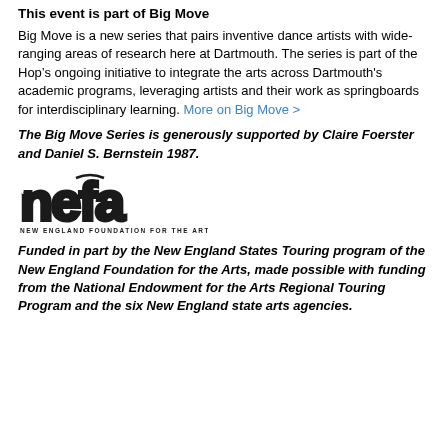This event is part of Big Move
Big Move is a new series that pairs inventive dance artists with wide-ranging areas of research here at Dartmouth. The series is part of the Hop’s ongoing initiative to integrate the arts across Dartmouth's academic programs, leveraging artists and their work as springboards for interdisciplinary learning. More on Big Move >
The Big Move Series is generously supported by Claire Foerster and Daniel S. Bernstein 1987.
[Figure (logo): NEFA - New England Foundation for the Arts logo]
Funded in part by the New England States Touring program of the New England Foundation for the Arts, made possible with funding from the National Endowment for the Arts Regional Touring Program and the six New England state arts agencies.